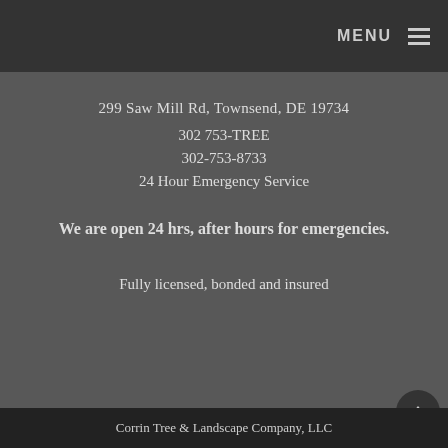MENU
299 Saw Mill Rd, Townsend, DE 19734
302 753-TREE
302-753-8733
24 Hour Emergency Service
We are open 24 hrs, after hours for emergencies.
Fully licensed, bonded and insured
Corrin Tree & Landscape Company, LLC